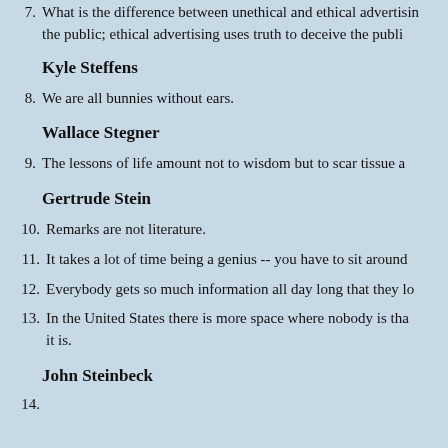7. What is the difference between unethical and ethical advertising? Unethical advertising uses falsehoods to deceive the public; ethical advertising uses truth to deceive the public.
Kyle Steffens
8. We are all bunnies without ears.
Wallace Stegner
9. The lessons of life amount not to wisdom but to scar tissue and callus.
Gertrude Stein
10. Remarks are not literature.
11. It takes a lot of time being a genius -- you have to sit around so much doing nothing, really doing nothing.
12. Everybody gets so much information all day long that they lose their common sense.
13. In the United States there is more space where nobody is than where anybody is. That is what makes America what it is.
John Steinbeck
14. ...